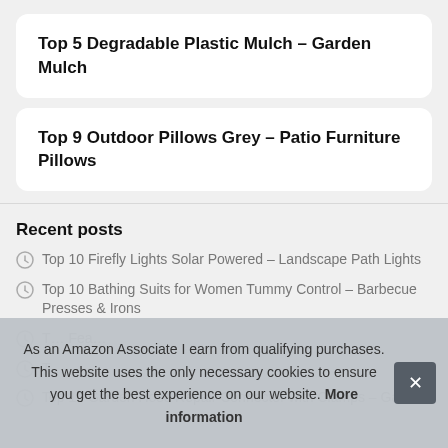Top 5 Degradable Plastic Mulch – Garden Mulch
Top 9 Outdoor Pillows Grey – Patio Furniture Pillows
Recent posts
Top 10 Firefly Lights Solar Powered – Landscape Path Lights
Top 10 Bathing Suits for Women Tummy Control – Barbecue Presses & Irons
T… Fea…
T…
Top 10 Garden Hose Repair Connector with Clamps – Garden
As an Amazon Associate I earn from qualifying purchases. This website uses the only necessary cookies to ensure you get the best experience on our website. More information